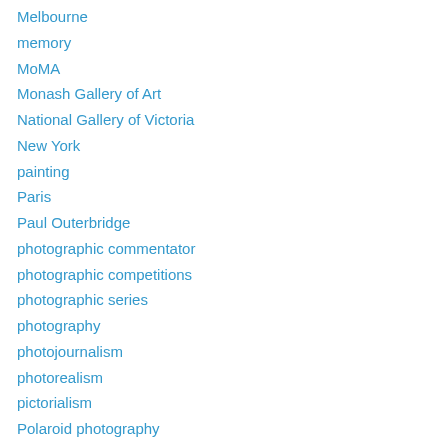Melbourne
memory
MoMA
Monash Gallery of Art
National Gallery of Victoria
New York
painting
Paris
Paul Outerbridge
photographic commentator
photographic competitions
photographic series
photography
photojournalism
photorealism
pictorialism
Polaroid photography
portrait
postcards
printmaking